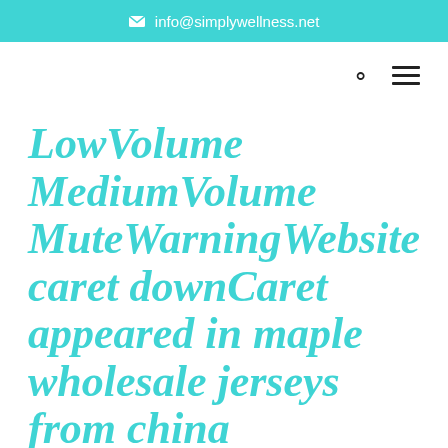info@simplywellness.net
LowVolume MediumVolume MuteWarningWebsite caret downCaret appeared in maple wholesale jerseys from china
BY | MAR 6, 2020 | UNCATEGORIZED | 0